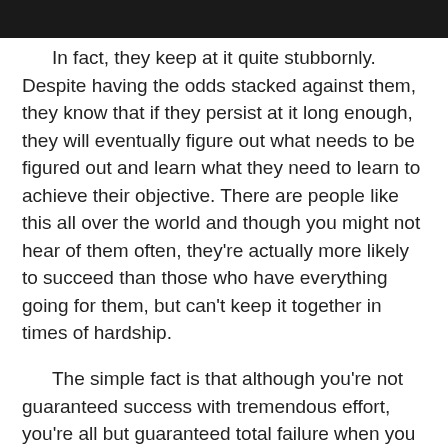[Figure (photo): Dark photographic image strip at the top of the page, cropped to show only a narrow band.]
In fact, they keep at it quite stubbornly. Despite having the odds stacked against them, they know that if they persist at it long enough, they will eventually figure out what needs to be figured out and learn what they need to learn to achieve their objective. There are people like this all over the world and though you might not hear of them often, they're actually more likely to succeed than those who have everything going for them, but can't keep it together in times of hardship.
The simple fact is that although you're not guaranteed success with tremendous effort, you're all but guaranteed total failure when you give up. Giving up is like admitting you're not good enough. It's like giving it only one shot, then packing up and walking away when that one shot doesn't land on target. The persistent…